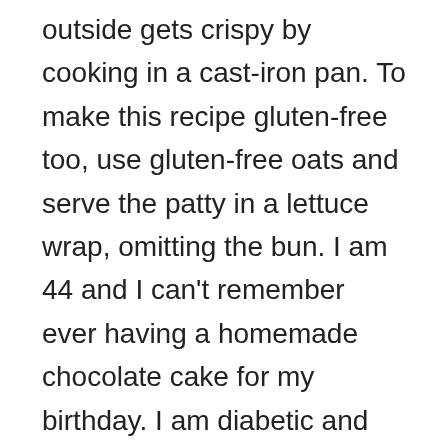outside gets crispy by cooking in a cast-iron pan. To make this recipe gluten-free too, use gluten-free oats and serve the patty in a lettuce wrap, omitting the bun. I am 44 and I can't remember ever having a homemade chocolate cake for my birthday. I am diabetic and made the single layer and used whipped cream and strawberries instead of frosting. It was great and my picky family members gobbled it down as well. These coolfrozen meat treatsfromOffbeat Home & Lifewon't sound as appealing to you, but your dog will love them. Combine your choice of cooked meat, plain yogurt, mashed carrot, parsley and olive oil in a bowl, and then freeze in an ice cube tray. Your dog will fully support you tucking away dinner scraps for this recipe. Thesesalmon and sweet potato browniesfromKol's Noteshave a soft, moist texture,